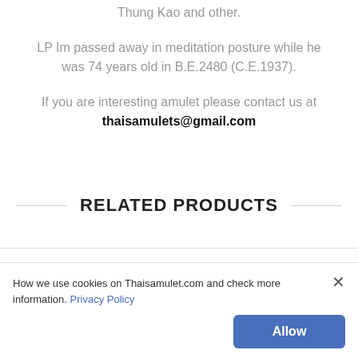Thung Kao and other.
LP Im passed away in meditation posture while he was 74 years old in B.E.2480 (C.E.1937).
If you are interesting amulet please contact us at thaisamulets@gmail.com
RELATED PRODUCTS
How we use cookies on Thaisamulet.com and check more information. Privacy Policy